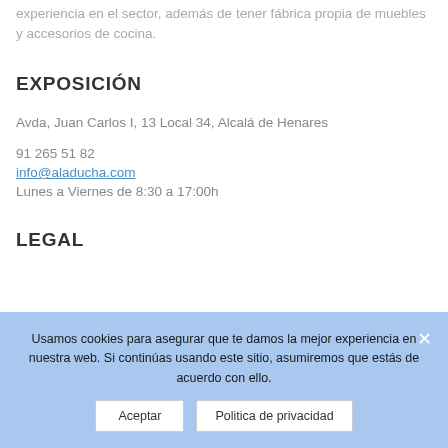experiencia en el sector, además de tener fábrica propia de muebles y accesorios de cocina.
EXPOSICIÓN
Avda, Juan Carlos I, 13 Local 34, Alcalá de Henares
91 265 51 82
info@aladucha.com
Lunes a Viernes de 8:30 a 17:00h
LEGAL
Usamos cookies para asegurar que te damos la mejor experiencia en nuestra web. Si continúas usando este sitio, asumiremos que estás de acuerdo con ello.
Aceptar
Politica de privacidad